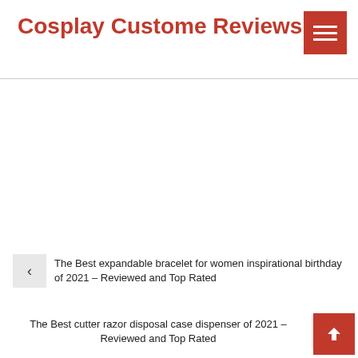Cosplay Custome Reviews
The Best expandable bracelet for women inspirational birthday of 2021 – Reviewed and Top Rated
The Best cutter razor disposal case dispenser of 2021 – Reviewed and Top Rated